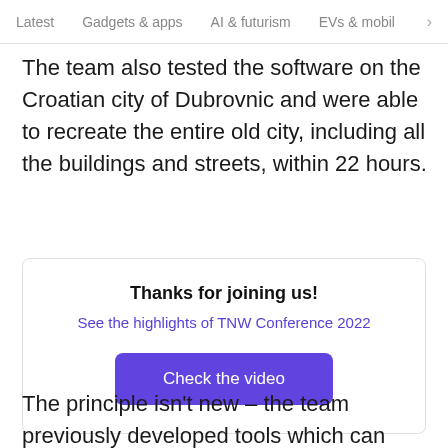Latest  Gadgets & apps  AI & futurism  EVs & mobil  >
The team also tested the software on the Croatian city of Dubrovnic and were able to recreate the entire old city, including all the buildings and streets, within 22 hours.
Thanks for joining us!
See the highlights of TNW Conference 2022
Check the video
The principle isn't new – the team previously developed tools which can create 3D models from a